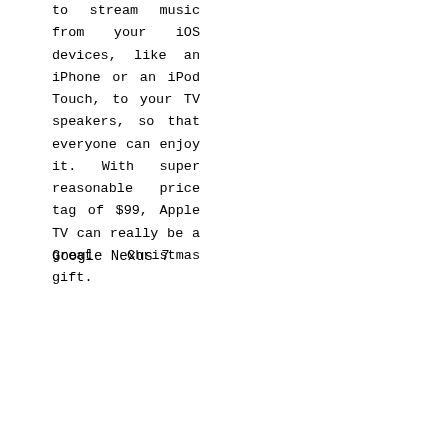to stream music from your iOS devices, like an iPhone or an iPod Touch, to your TV speakers, so that everyone can enjoy it. With super reasonable price tag of $99, Apple TV can really be a great Christmas gift.
Google Nexus 7